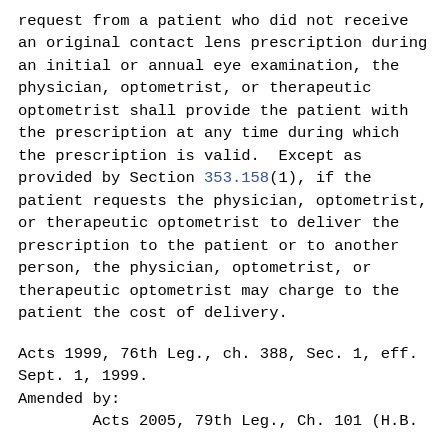request from a patient who did not receive an original contact lens prescription during an initial or annual eye examination, the physician, optometrist, or therapeutic optometrist shall provide the patient with the prescription at any time during which the prescription is valid.  Except as provided by Section 353.158(1), if the patient requests the physician, optometrist, or therapeutic optometrist to deliver the prescription to the patient or to another person, the physician, optometrist, or therapeutic optometrist may charge to the patient the cost of delivery.
Acts 1999, 76th Leg., ch. 388, Sec. 1, eff. Sept. 1, 1999.
Amended by:
        Acts 2005, 79th Leg., Ch. 101 (H.B.